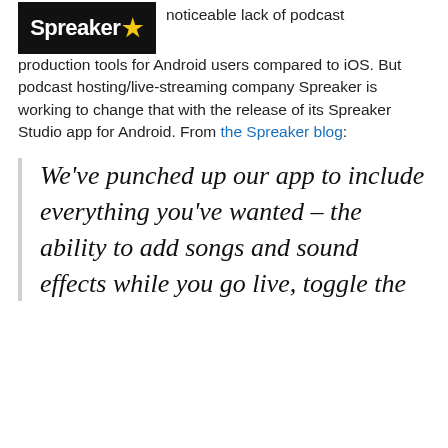[Figure (logo): Spreaker logo: black background with white bold text 'Spreaker' and a yellow star]
noticeable lack of podcast production tools for Android users compared to iOS. But podcast hosting/live-streaming company Spreaker is working to change that with the release of its Spreaker Studio app for Android. From the Spreaker blog:
We’ve punched up our app to include everything you’ve wanted – the ability to add songs and sound effects while you go live, toggle the